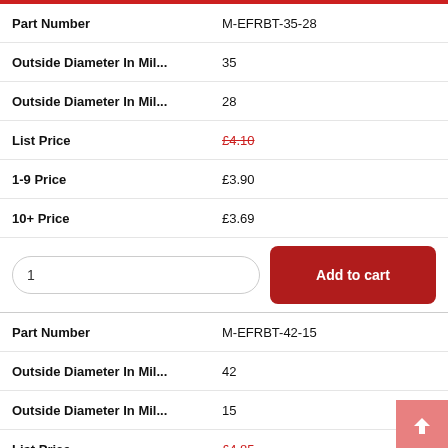| Attribute | Value |
| --- | --- |
| Part Number | M-EFRBT-35-28 |
| Outside Diameter In Mil... | 35 |
| Outside Diameter In Mil... | 28 |
| List Price | £4.10 |
| 1-9 Price | £3.90 |
| 10+ Price | £3.69 |
| Attribute | Value |
| --- | --- |
| Part Number | M-EFRBT-42-15 |
| Outside Diameter In Mil... | 42 |
| Outside Diameter In Mil... | 15 |
| List Price | £4.85 |
| 1-9 Price | £4.61 |
| 10+ Price | £4.37 |
| Attribute | Value |
| --- | --- |
| Part Number | M-EFRBT-42-22 |
| Outside Diameter In Mil... | 42 |
| Outside Diameter In Mil... | 22 |